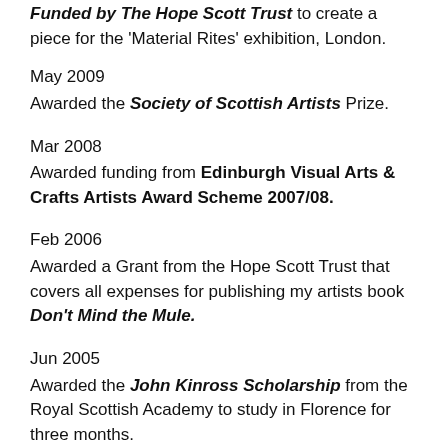Funded by The Hope Scott Trust to create a piece for the 'Material Rites' exhibition, London.
May 2009
Awarded the Society of Scottish Artists Prize.
Mar 2008
Awarded funding from Edinburgh Visual Arts & Crafts Artists Award Scheme 2007/08.
Feb 2006
Awarded a Grant from the Hope Scott Trust that covers all expenses for publishing my artists book Don't Mind the Mule.
Jun 2005
Awarded the John Kinross Scholarship from the Royal Scottish Academy to study in Florence for three months.